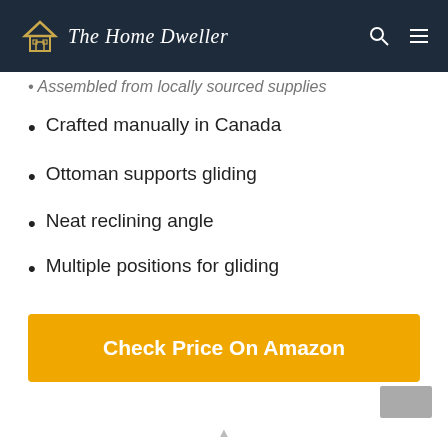The Home Dweller
Assembled from locally sourced supplies
Crafted manually in Canada
Ottoman supports gliding
Neat reclining angle
Multiple positions for gliding
Check Price On Amazon